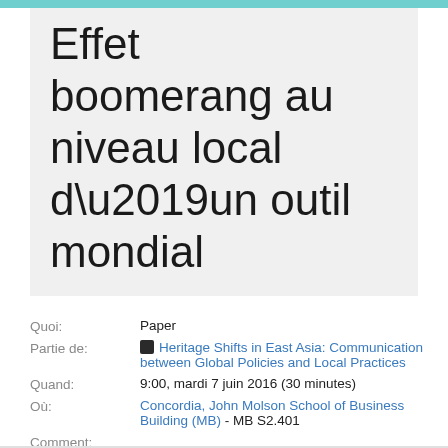Effet boomerang au niveau local d’un outil mondial
Quoi: Paper
Partie de: Heritage Shifts in East Asia: Communication between Global Policies and Local Practices
Quand: 9:00, mardi 7 juin 2016 (30 minutes)
Où: Concordia, John Molson School of Business Building (MB) - MB S2.401
Comment:
Discussion: 0